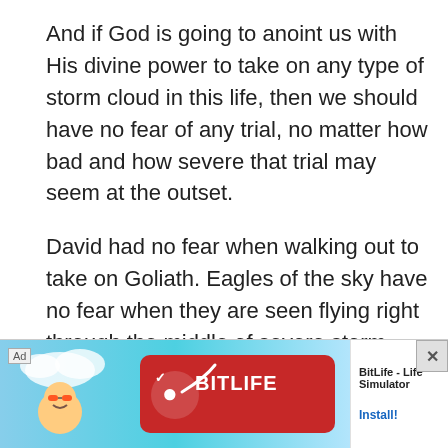And if God is going to anoint us with His divine power to take on any type of storm cloud in this life, then we should have no fear of any trial, no matter how bad and how severe that trial may seem at the outset.
David had no fear when walking out to take on Goliath. Eagles of the sky have no fear when they are seen flying right through the middle of severe storm clouds or taking on other animals who are twice their size. In the same way, we should be just like King David and an eagle of the sky and be willing to take on any storm clouds that may come our way in this life with the same intensity boldn
[Figure (infographic): Advertisement banner for BitLife - Life Simulator app with 'Ad' label, colorful game artwork showing cartoon characters, red BitLife logo pill, and Install! button]